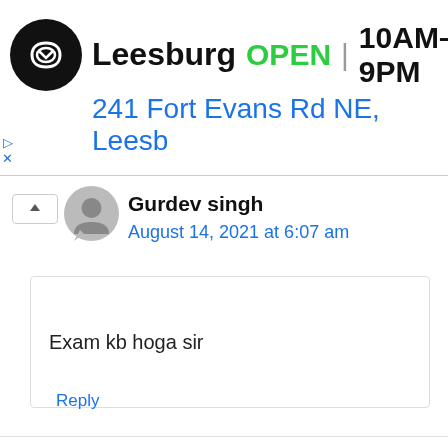[Figure (screenshot): Ad banner for a store in Leesburg showing logo, OPEN status, hours 10AM-9PM, address 241 Fort Evans Rd NE, Leesb]
Gurdev singh
August 14, 2021 at 6:07 am
Exam kb hoga sir
Reply
MAVIYa solanki
November 3, 2021 at 1:36 am